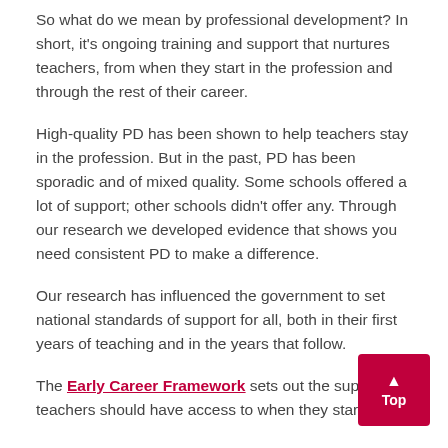So what do we mean by professional development? In short, it's ongoing training and support that nurtures teachers, from when they start in the profession and through the rest of their career.
High-quality PD has been shown to help teachers stay in the profession. But in the past, PD has been sporadic and of mixed quality. Some schools offered a lot of support; other schools didn't offer any. Through our research we developed evidence that shows you need consistent PD to make a difference.
Our research has influenced the government to set national standards of support for all, both in their first years of teaching and in the years that follow.
The Early Career Framework sets out the support teachers should have access to when they start their